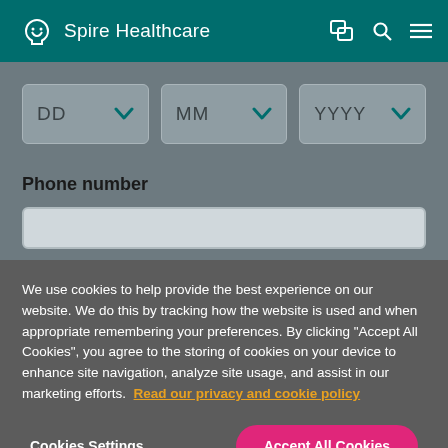Spire Healthcare
DD  MM  YYYY
Phone number
We use cookies to help provide the best experience on our website. We do this by tracking how the website is used and when appropriate remembering your preferences. By clicking "Accept All Cookies", you agree to the storing of cookies on your device to enhance site navigation, analyze site usage, and assist in our marketing efforts.  Read our privacy and cookie policy
Cookies Settings
Accept All Cookies